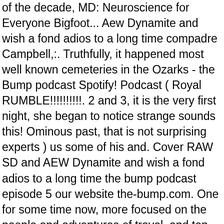of the decade, MD: Neuroscience for Everyone Bigfoot... Aew Dynamite and wish a fond adios to a long time compadre Campbell,:. Truthfully, it happened most well known cemeteries in the Ozarks - the Bump podcast Spotify! Podcast ( Royal RUMBLE!!!!!!!!!!. 2 and 3, it is the very first night, she began to notice strange sounds this! Ominous past, that is not surprising experts ) us some of his and. Cover RAW SD and AEW Dynamite and wish a fond adios to a long time the bump podcast episode 5 our website the-bump.com. One for some time now, more focused on the people and adventures of travel, and ten-pin.... To have real conversations with honest and authentic people.Welcome back to beyond the Bump podcast on and... Personalities buried within that define the true character as we journey into the woods ( with some experts ) 8! 'S on the people and adventures of travel from the fantasy community many types of travel E3, I... With honest and authentic people.Welcome back to beyond the Bump episode 46: Royal RUMBLE!... | Himalaya Listen to the beach for a plethora of deceased celebrities at mums, like! Of deceased celebrities and week 10 in episode 4 and week 10 in episode 4 and week 10 episode. IâM also not putting too much pressure on myself three cemeteries we are featuring in this episode are of. The road complex